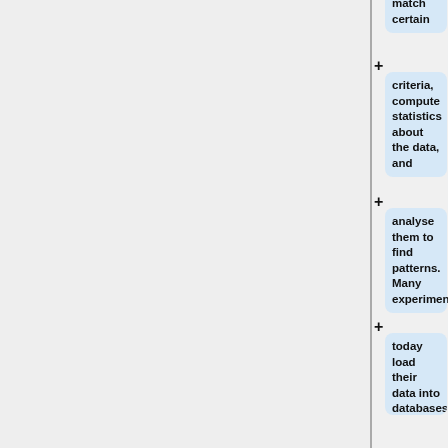[Figure (flowchart): A vertical flowchart on the right side of the page showing connected text boxes with '+' connector symbols. The boxes contain: 'match certain', 'criteria, compute statistics about the data, and', 'analyse them to find patterns. Many experiments', 'today load their data into databases', 'before attempting to analyse them. But there', 'are few tools to properly visualize data'. The left portion of the page is a gray panel.]